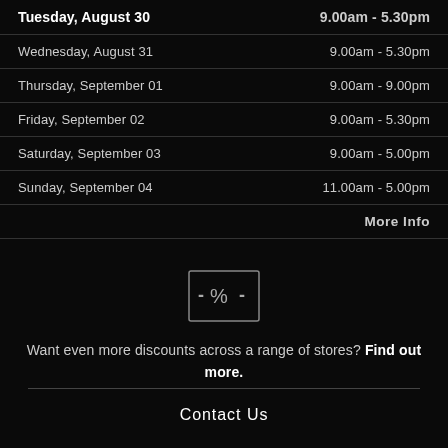| Day | Hours |
| --- | --- |
| Tuesday, August 30 | 9.00am - 5.30pm |
| Wednesday, August 31 | 9.00am - 5.30pm |
| Thursday, September 01 | 9.00am - 9.00pm |
| Friday, September 02 | 9.00am - 5.30pm |
| Saturday, September 03 | 9.00am - 5.00pm |
| Sunday, September 04 | 11.00am - 5.00pm |
| More Info |  |
[Figure (illustration): Discount/percentage tag icon — a rectangle with a percent sign and dashes on either side]
Want even more discounts across a range of stores? Find out more.
Contact Us